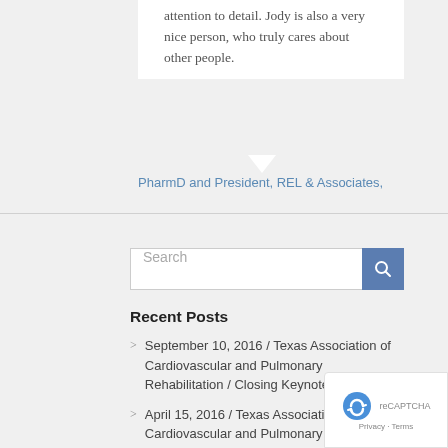attention to detail. Jody is also a very nice person, who truly cares about other people.
PharmD and President, REL & Associates,
Search
Recent Posts
September 10, 2016 / Texas Association of Cardiovascular and Pulmonary Rehabilitation / Closing Keynote
April 15, 2016 / Texas Association of Cardiovascular and Pulmonary Rehabilitation / “Exploratorium! Build Your Skills in Motivational Interviewing”
April 5, 2016 / Keynote: Ohio Association...